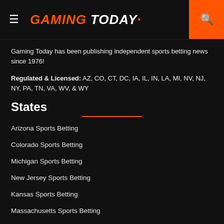GAMING TODAY
Gaming Today has been publishing independent sports betting news since 1976!
Regulated & Licensed: AZ, CO, CT, DC, IA, IL, IN, LA, MI, NV, NJ, NY, PA, TN, VA, WV, & WY
States
Arizona Sports Betting
Colorado Sports Betting
Michigan Sports Betting
New Jersey Sports Betting
Kansas Sports Betting
Massachusetts Sports Betting
States
New York Sports Betting